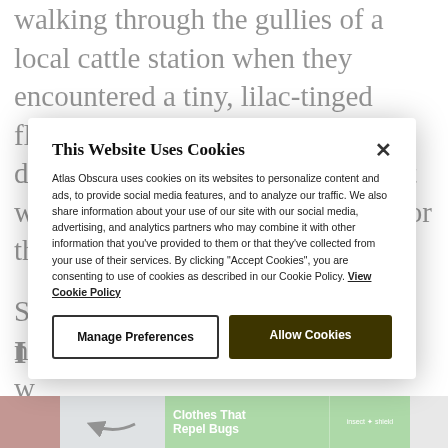walking through the gullies of a local cattle station when they encountered a tiny, lilac-tinged flower that had never been documented before. The new plant was named the Ackaringa daisy (for the cattle station) and r
I...
[Figure (screenshot): Cookie consent modal dialog overlay on Atlas Obscura website. Title: 'This Website Uses Cookies'. Body text explains cookie usage and sharing. Two buttons: 'Manage Preferences' (outlined) and 'Allow Cookies' (dark olive/green filled). Close X button in top right.]
[Figure (screenshot): Bottom advertisement banner showing a person in blue clothes with an arrow pointing at them, text 'Clothes That Repel Bugs' and 'insect shield' logo on green background.]